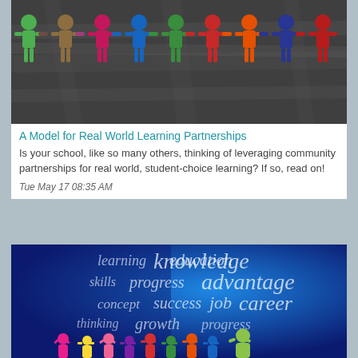[Figure (photo): Chalkboard background with colorful paper doll figures holding hands in a row, various colors: green, orange/brown, magenta, blue, green, red, orange, blue, red]
A Model for Real World Learning Partnerships
Is your school, like so many others, thinking of leveraging community partnerships for real world, student-choice learning? If so, read on!
Tue May 17 08:35 AM
[Figure (photo): Blue gradient background with white italic word-cloud text (learning, education, knowledge, skills, progress, advantage, concept, success, job, career, thinking, growth, progress) and colorful silhouettes of children celebrating at the bottom]